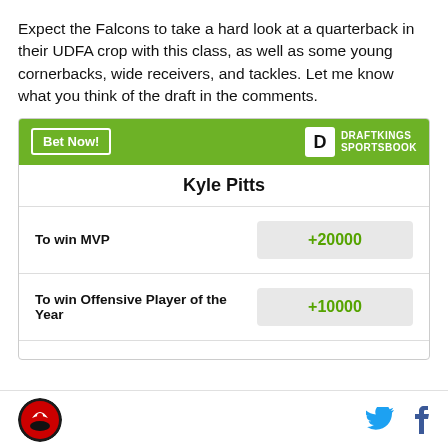Expect the Falcons to take a hard look at a quarterback in their UDFA crop with this class, as well as some young cornerbacks, wide receivers, and tackles. Let me know what you think of the draft in the comments.
| Kyle Pitts |  |
| --- | --- |
| To win MVP | +20000 |
| To win Offensive Player of the Year | +10000 |
Falcons logo | Twitter | Facebook